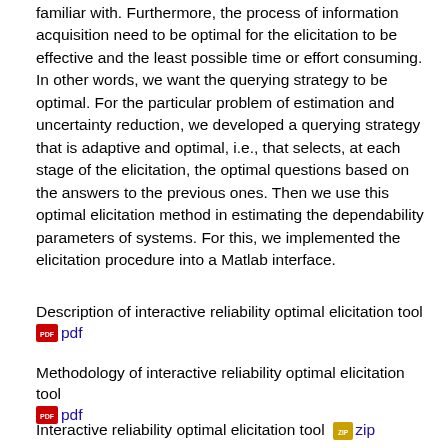familiar with. Furthermore, the process of information acquisition need to be optimal for the elicitation to be effective and the least possible time or effort consuming. In other words, we want the querying strategy to be optimal. For the particular problem of estimation and uncertainty reduction, we developed a querying strategy that is adaptive and optimal, i.e., that selects, at each stage of the elicitation, the optimal questions based on the answers to the previous ones. Then we use this optimal elicitation method in estimating the dependability parameters of systems. For this, we implemented the elicitation procedure into a Matlab interface.
Description of interactive reliability optimal elicitation tool pdf
Methodology of interactive reliability optimal elicitation tool pdf
Interactive reliability optimal elicitation tool zip